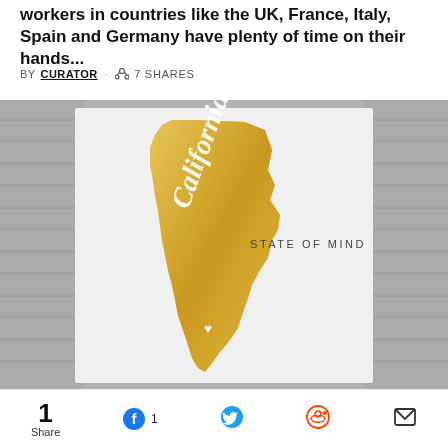workers in countries like the UK, France, Italy, Spain and Germany have plenty of time on their hands...
BY CURATOR · 7 SHARES
[Figure (photo): A decorative art print showing the silhouette of California in gold foil with cursive text reading 'California' and 'STATE OF MIND', placed on a white card against a brick wall background.]
1 Share  1  (social sharing buttons: Facebook, Twitter, Reddit, Email)